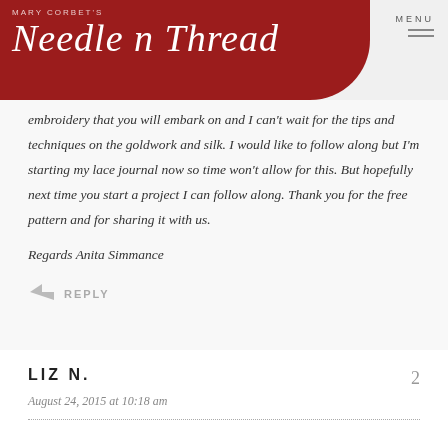Mary Corbet's Needle n Thread — MENU
embroidery that you will embark on and I can't wait for the tips and techniques on the goldwork and silk. I would like to follow along but I'm starting my lace journal now so time won't allow for this. But hopefully next time you start a project I can follow along. Thank you for the free pattern and for sharing it with us.

Regards Anita Simmance
REPLY
LIZ N.
August 24, 2015 at 10:18 am